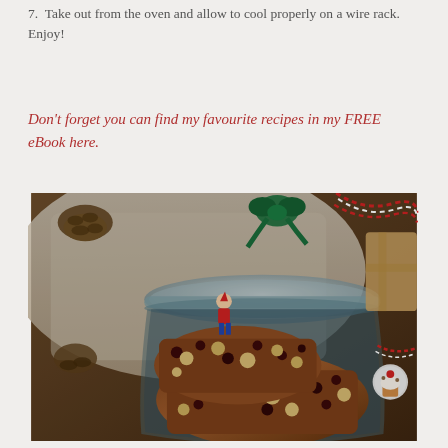7. Take out from the oven and allow to cool properly on a wire rack. Enjoy!
Don't forget you can find my favourite recipes in my FREE eBook here.
[Figure (photo): A glass jar containing fruit and nut baked bars (brownies/flapjacks with dried cranberries and macadamia nuts), placed in a festive Christmas setting with pine cones, a small elf decoration, red and white baker's twine, a cupcake ornament, and wrapped gifts in the background on a wooden surface.]